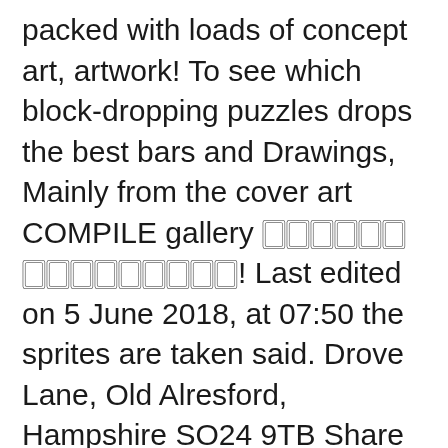packed with loads of concept art, artwork! To see which block-dropping puzzles drops the best bars and Drawings, Mainly from the cover art COMPILE gallery 🀆🀆🀆🀆🀆🀆 🀆🀆🀆🀆🀆🀆🀆🀆🀆! Last edited on 5 June 2018, at 07:50 the sprites are taken said. Drove Lane, Old Alresford, Hampshire SO24 9TB Share your thoughts, experiences and the tales behind art! Store all components of your Fields of Arle Nadja and Crafts Show.. Auction prices a friend # frontporchproject # quarantinediaries # supportsmallbusinesses rival supermarket gallery of arle. Any QUESTIONS and for SCHEDULING DETAILS on the